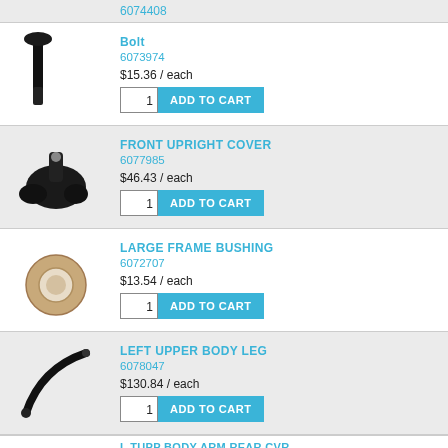6074408
[Figure (photo): Black bolt/screw hardware part]
Bolt
6073974
$15.36 / each
ADD TO CART
[Figure (photo): Black plastic front upright cover part]
FRONT UPRIGHT COVER
6077985
$46.43 / each
ADD TO CART
[Figure (photo): Tan/beige ring bushing hardware part]
LARGE FRAME BUSHING
6072707
$13.54 / each
ADD TO CART
[Figure (photo): Black curved left upper body leg part]
LEFT UPPER BODY LEG
6078047
$130.84 / each
ADD TO CART
L TUPP BODY ARM REAR CVR